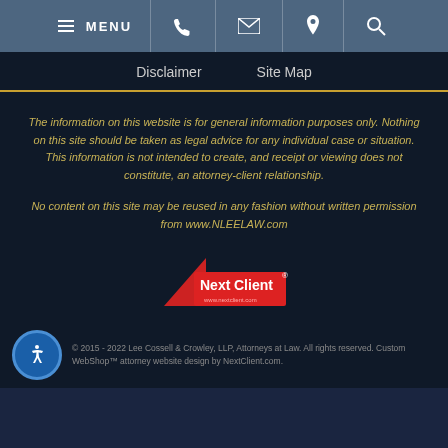MENU [phone] [email] [location] [search]
Disclaimer   Site Map
The information on this website is for general information purposes only. Nothing on this site should be taken as legal advice for any individual case or situation. This information is not intended to create, and receipt or viewing does not constitute, an attorney-client relationship.
No content on this site may be reused in any fashion without written permission from www.NLEELAW.com
[Figure (logo): NextClient logo — red triangle with white text 'NextClient' and registered trademark symbol, with www.nextclient.com beneath]
© 2015 - 2022 Lee Cossell & Crowley, LLP, Attorneys at Law. All rights reserved. Custom WebShop™ attorney website design by NextClient.com.